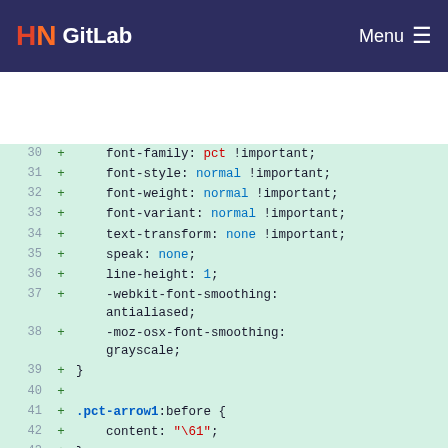GitLab  Menu
[Figure (screenshot): GitLab code diff view showing CSS lines 30-47 with syntax highlighting on a light green background. Lines show font-family, font-style, font-weight, font-variant, text-transform, speak, line-height, -webkit-font-smoothing, -moz-osx-font-smoothing properties, closing brace, .pct-arrow1:before, .pct-arrow2:before, and .pct-arrow3:before CSS rules with content values.]